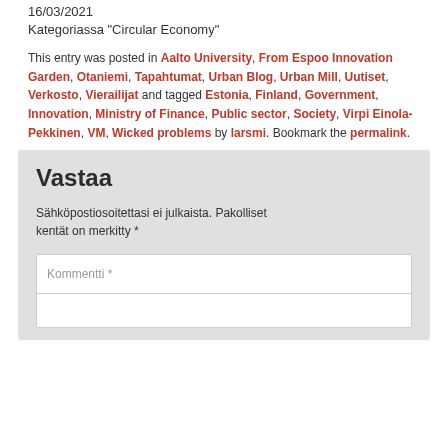16/03/2021
Kategoriassa "Circular Economy"
This entry was posted in Aalto University, From Espoo Innovation Garden, Otaniemi, Tapahtumat, Urban Blog, Urban Mill, Uutiset, Verkosto, Vierailijat and tagged Estonia, Finland, Government, Innovation, Ministry of Finance, Public sector, Society, Virpi Einola-Pekkinen, VM, Wicked problems by larsmi. Bookmark the permalink.
Vastaa
Sähköpostiosoitettasi ei julkaista. Pakolliset kentät on merkitty *
Kommentti *